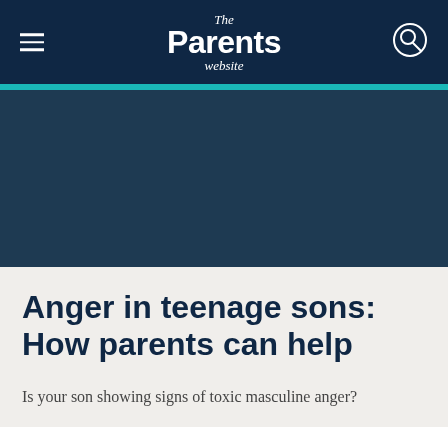The Parents website
Anger in teenage sons: How parents can help
Is your son showing signs of toxic masculine anger?